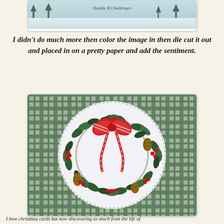[Figure (photo): Top portion of a winter/snowy scene image with cursive text overlay reading 'Double B Challenges']
I didn't do much more then color the image in then die cut it out and placed in on a pretty paper and add the sentiment.
[Figure (photo): A Christmas wreath craft project on a circular white die-cut card placed on green plaid patterned paper. The wreath features dark green holly leaves, red berries, pine cones, and a red gingham ribbon bow at the top.]
I love christmas cards but now discovering so much from the life of